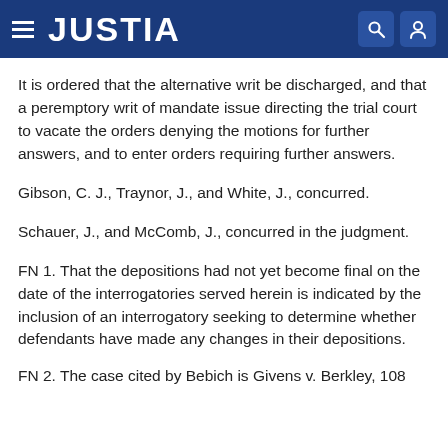JUSTIA
It is ordered that the alternative writ be discharged, and that a peremptory writ of mandate issue directing the trial court to vacate the orders denying the motions for further answers, and to enter orders requiring further answers.
Gibson, C. J., Traynor, J., and White, J., concurred.
Schauer, J., and McComb, J., concurred in the judgment.
FN 1. That the depositions had not yet become final on the date of the interrogatories served herein is indicated by the inclusion of an interrogatory seeking to determine whether defendants have made any changes in their depositions.
FN 2. The case cited by Bebich is Givens v. Berkley, 108